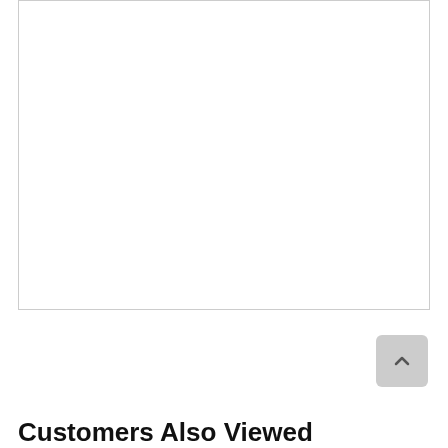on your smartphone.*
Features
25 cu. ft. Capacity
33" Width
PrintProof™ Finish
Tall Ice & Water Dispenser
Slim SpacePlus® Ice System
2 Crispers + Glide N' Serve® Drawer
Customers Also Viewed